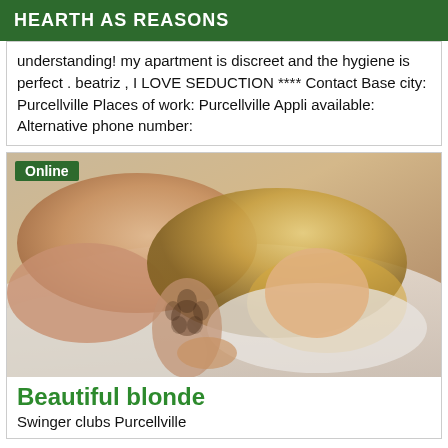HEARTH AS REASONS
understanding! my apartment is discreet and the hygiene is perfect . beatriz , I LOVE SEDUCTION **** Contact Base city: Purcellville Places of work: Purcellville Appli available: Alternative phone number:
[Figure (photo): Woman lying on white bedding, with a floral tattoo on her arm, blonde hair. Green 'Online' badge in top-left corner.]
Beautiful blonde
Swinger clubs Purcellville